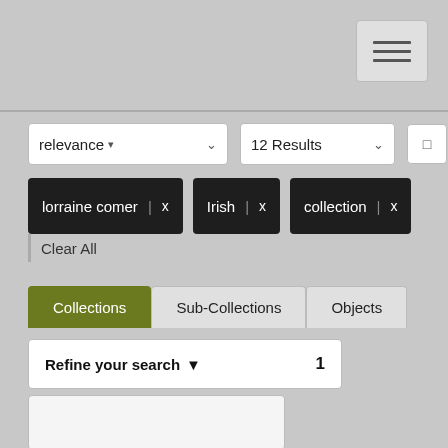[Figure (screenshot): Hamburger menu button in top right corner]
relevance ▼
12 Results
lorraine comer | x
Irish | x
collection | x
Clear All
Collections
Sub-Collections
Objects
Refine your search ▼  1